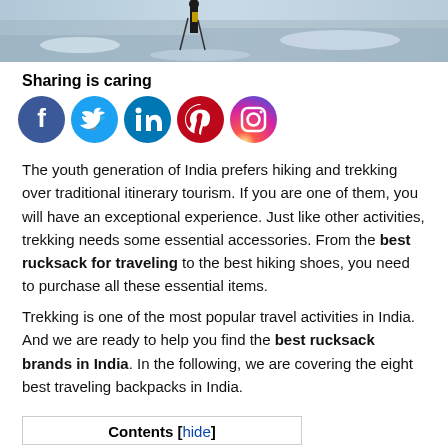[Figure (photo): Person hiking on a snowy mountain trail with trekking poles, viewed from behind against a rocky snowy landscape]
Sharing is caring
[Figure (infographic): Social media sharing icons: Facebook (blue), Twitter (light blue), LinkedIn (blue), Pinterest (red), Instagram (gradient pink/purple)]
The youth generation of India prefers hiking and trekking over traditional itinerary tourism. If you are one of them, you will have an exceptional experience. Just like other activities, trekking needs some essential accessories. From the best rucksack for traveling to the best hiking shoes, you need to purchase all these essential items.
Trekking is one of the most popular travel activities in India. And we are ready to help you find the best rucksack brands in India. In the following, we are covering the eight best traveling backpacks in India.
Contents [hide]